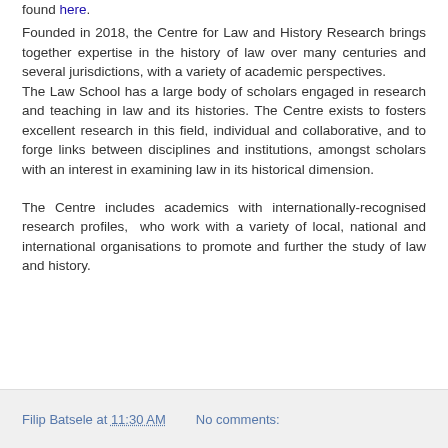found here.
Founded in 2018, the Centre for Law and History Research brings together expertise in the history of law over many centuries and several jurisdictions, with a variety of academic perspectives.
The Law School has a large body of scholars engaged in research and teaching in law and its histories. The Centre exists to fosters excellent research in this field, individual and collaborative, and to forge links between disciplines and institutions, amongst scholars with an interest in examining law in its historical dimension.
The Centre includes academics with internationally-recognised research profiles,  who work with a variety of local, national and international organisations to promote and further the study of law and history.
Filip Batsele at 11:30 AM   No comments: